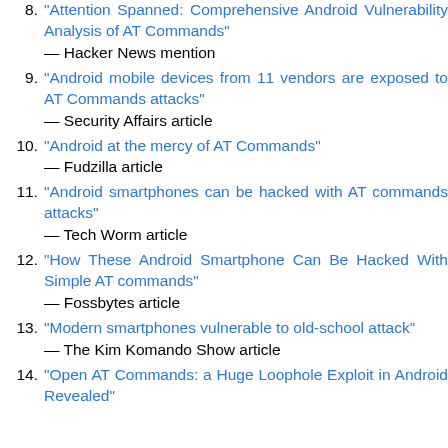8. "Attention Spanned: Comprehensive Android Vulnerability Analysis of AT Commands" — Hacker News mention
9. "Android mobile devices from 11 vendors are exposed to AT Commands attacks" — Security Affairs article
10. "Android at the mercy of AT Commands" — Fudzilla article
11. "Android smartphones can be hacked with AT commands attacks" — Tech Worm article
12. "How These Android Smartphone Can Be Hacked With Simple AT commands" — Fossbytes article
13. "Modern smartphones vulnerable to old-school attack" — The Kim Komando Show article
14. "Open AT Commands: a Huge Loophole Exploit in Android Revealed"